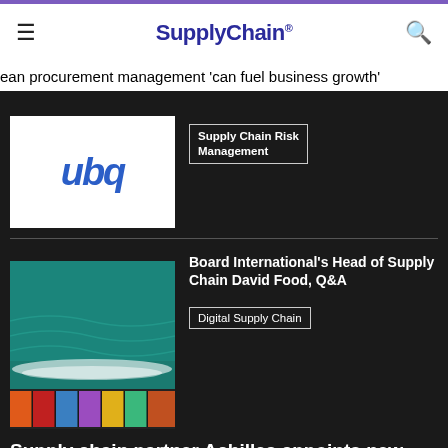SupplyChain.
ean procurement management 'can fuel business growth'
[Figure (logo): UBQ logo in blue text on white background]
Supply Chain Risk Management
[Figure (photo): Aerial view of a shipping vessel with colorful cargo containers near a coastline with waves]
Board International's Head of Supply Chain David Food, Q&A
Digital Supply Chain
Supply chain partner Achilles appoints new CEO Paul Stanley
Q&A with Inchcape's Global Head of